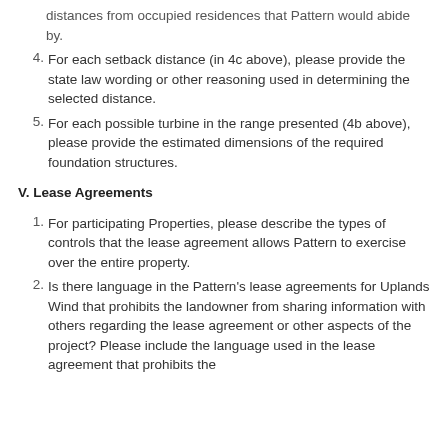distances from occupied residences that Pattern would abide by.
4. For each setback distance (in 4c above), please provide the state law wording or other reasoning used in determining the selected distance.
5. For each possible turbine in the range presented (4b above), please provide the estimated dimensions of the required foundation structures.
V. Lease Agreements
1. For participating Properties, please describe the types of controls that the lease agreement allows Pattern to exercise over the entire property.
2. Is there language in the Pattern's lease agreements for Uplands Wind that prohibits the landowner from sharing information with others regarding the lease agreement or other aspects of the project? Please include the language used in the lease agreement that prohibits the